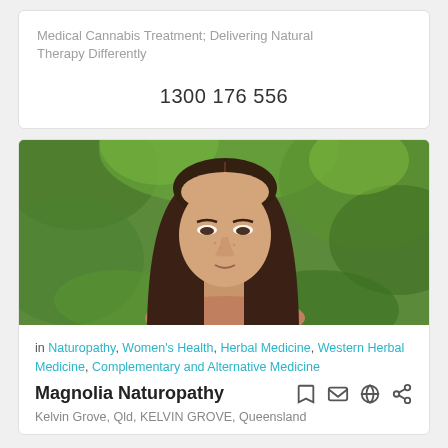Medical Cannabis Treatment; Delivering Natural Therapy Differently
1300 176 556
[Figure (photo): Portrait photo of a woman with long dark hair, photographed outdoors in front of green foliage background]
in Naturopathy, Women's Health, Herbal Medicine, Western Herbal Medicine, Complementary and Alternative Medicine
Magnolia Naturopathy
Kelvin Grove, Qld, KELVIN GROVE, Queensland